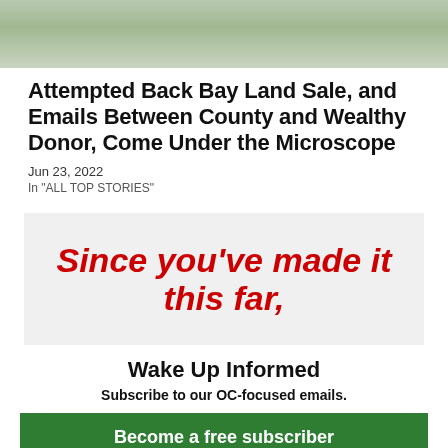[Figure (photo): Partial top photo showing outdoor scene with land/water and a document/map, cropped at top of page]
Attempted Back Bay Land Sale, and Emails Between County and Wealthy Donor, Come Under the Microscope
Jun 23, 2022
In "ALL TOP STORIES"
Since you've made it this far,
Wake Up Informed
Subscribe to our OC-focused emails.
Become a free subscriber
Not today